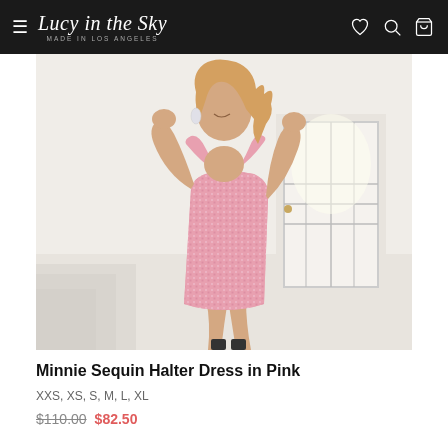Lucy in the Sky — Made in Los Angeles
[Figure (photo): Model wearing a pink sequin halter mini dress, posing with hands behind head in a white interior setting with stairs and a door in the background.]
Minnie Sequin Halter Dress in Pink
XXS, XS, S, M, L, XL
$110.00  $82.50